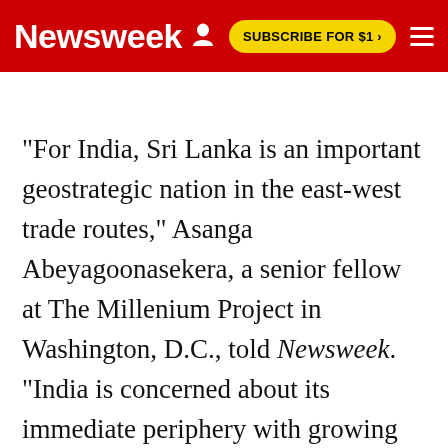Newsweek | SUBSCRIBE FOR $1 >
"For India, Sri Lanka is an important geostrategic nation in the east-west trade routes," Asanga Abeyagoonasekera, a senior fellow at The Millenium Project in Washington, D.C., told Newsweek. "India is concerned about its immediate periphery with growing Chinese influence, especially in its southern periphery facing the Indian Ocean where Sri Lanka is located."